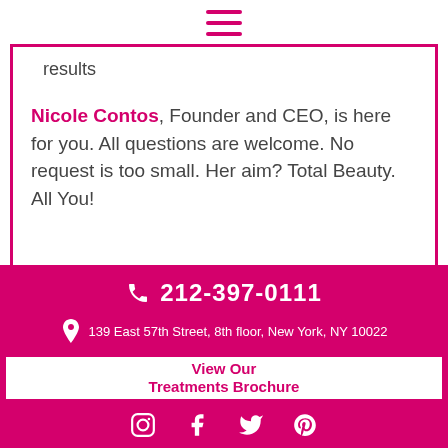[Figure (other): Hamburger menu icon (three horizontal pink lines)]
results
Nicole Contos, Founder and CEO, is here for you. All questions are welcome. No request is too small. Her aim? Total Beauty. All You!
212-397-0111
139 East 57th Street, 8th floor, New York, NY 10022
View Our Treatments Brochure
Book With Us
[Figure (other): Social media icons: Instagram, Facebook, Twitter, Pinterest in white on pink background]